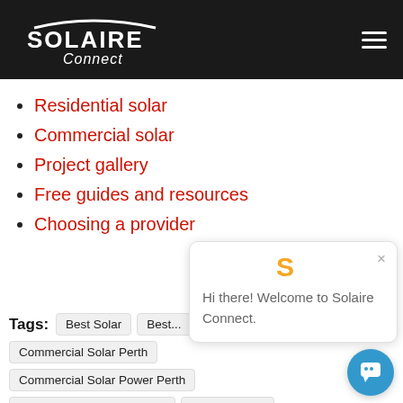Solaire Connect — navigation header with logo and hamburger menu
Residential solar
Commercial solar
Project gallery
Free guides and resources
Choosing a provider
[Figure (screenshot): Chat popup widget showing orange S logo, close X button, and text: Hi there! Welcome to Solaire Connect.]
Tags: Best Solar  Best...  Commercial Solar Perth  Commercial Solar Power Perth  Commercial Solar Systems  Off Grid Solar